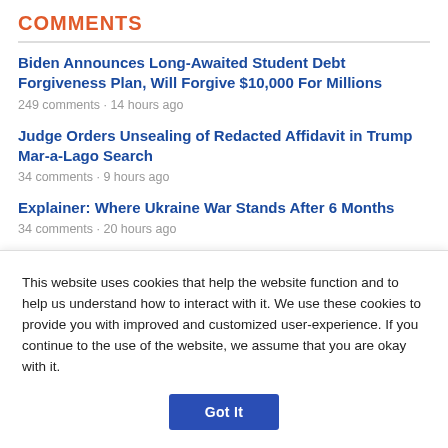COMMENTS
Biden Announces Long-Awaited Student Debt Forgiveness Plan, Will Forgive $10,000 For Millions
249 comments · 14 hours ago
Judge Orders Unsealing of Redacted Affidavit in Trump Mar-a-Lago Search
34 comments · 9 hours ago
Explainer: Where Ukraine War Stands After 6 Months
34 comments · 20 hours ago
Darren Bailey, Republican Candidate for Governor, Campaigns
This website uses cookies that help the website function and to help us understand how to interact with it. We use these cookies to provide you with improved and customized user-experience. If you continue to the use of the website, we assume that you are okay with it.